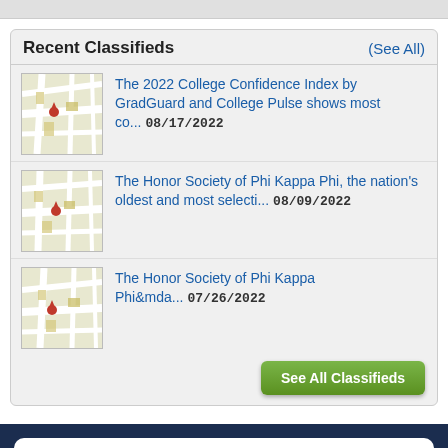Recent Classifieds
The 2022 College Confidence Index by GradGuard and College Pulse shows most co... 08/17/2022
The Honor Society of Phi Kappa Phi, the nation's oldest and most selecti... 08/09/2022
The Honor Society of Phi Kappa Phi&mda... 07/26/2022
See All Classifieds
Read this story in The Source App...
Open App
Continue in browser